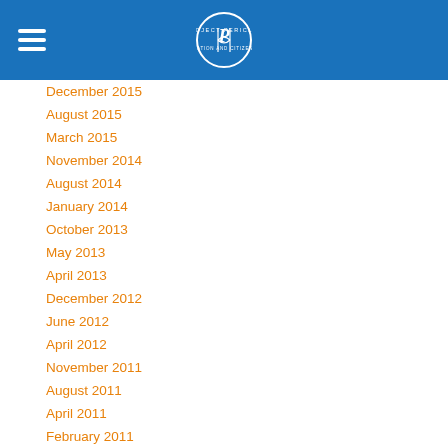Project Pericles Education and Citizenship logo
December 2015
August 2015
March 2015
November 2014
August 2014
January 2014
October 2013
May 2013
April 2013
December 2012
June 2012
April 2012
November 2011
August 2011
April 2011
February 2011
January 2011
October 2010